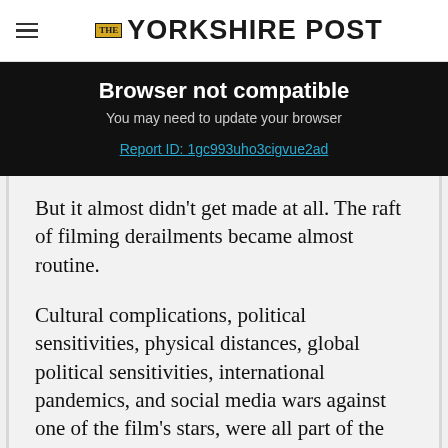THE YORKSHIRE POST
Browser not compatible
You may need to update your browser
Report ID: 1gc993uho3cigvue2ad
But it almost didn't get made at all. The raft of filming derailments became almost routine.
Cultural complications, political sensitivities, physical distances, global political sensitivities, international pandemics, and social media wars against one of the film's stars, were all part of the daily schedule.